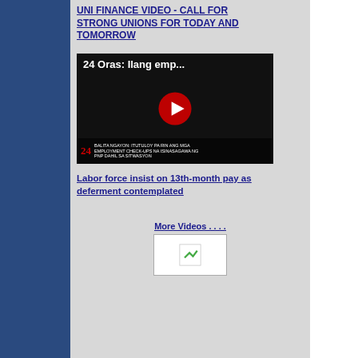UNI FINANCE VIDEO - CALL FOR STRONG UNIONS FOR TODAY AND TOMORROW
[Figure (screenshot): YouTube video thumbnail showing '24 Oras: Ilang emp...' with a red play button overlay on a dark background. Bottom bar shows '24' logo with Filipino text captions.]
Labor force insist on 13th-month pay as deferment contemplated
More Videos . . . .
[Figure (photo): Small image placeholder with green arrow icon]